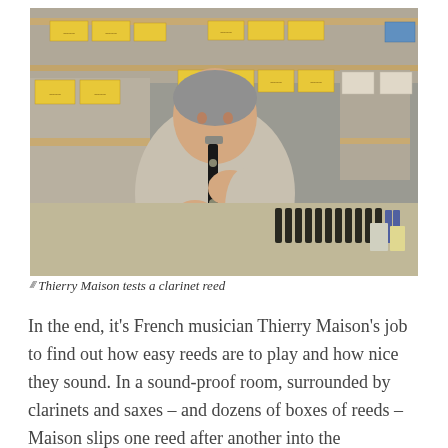[Figure (photo): A man (Thierry Maison) sitting in a storage room surrounded by shelves with yellow boxes and clarinet mouthpieces on a desk, playing a clarinet to test a reed.]
Thierry Maison tests a clarinet reed
In the end, it's French musician Thierry Maison's job to find out how easy reeds are to play and how nice they sound. In a sound-proof room, surrounded by clarinets and saxes – and dozens of boxes of reeds – Maison slips one reed after another into the mouthpiece of his clarinet (just a handful in each